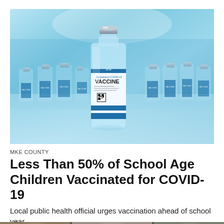[Figure (photo): Multiple glass vials of Coronavirus COVID-19 vaccine arranged on a reflective surface in a laboratory setting with blue tones. A central vial labeled 'Coronavirus COVID-19 VACCINE' is prominent in the foreground.]
MKE COUNTY
Less Than 50% of School Age Children Vaccinated for COVID-19
Local public health official urges vaccination ahead of school year.
Aug 12th, 2022
[Figure (photo): Partial image strip at bottom of page showing people]